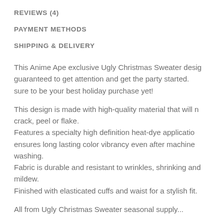REVIEWS (4)
PAYMENT METHODS
SHIPPING & DELIVERY
This Anime Ape exclusive Ugly Christmas Sweater design is guaranteed to get attention and get the party started. It's sure to be your best holiday purchase yet!
This design is made with high-quality material that will not crack, peel or flake.
Features a specialty high definition heat-dye application that ensures long lasting color vibrancy even after machine washing.
Fabric is durable and resistant to wrinkles, shrinking and mildew.
Finished with elasticated cuffs and waist for a stylish fit.
All from Ugly Christmas Sweater seasonal supply...